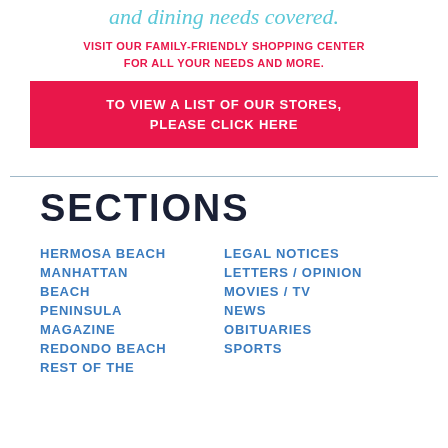and dining needs covered.
VISIT OUR FAMILY-FRIENDLY SHOPPING CENTER FOR ALL YOUR NEEDS AND MORE.
TO VIEW A LIST OF OUR STORES, PLEASE CLICK HERE
SECTIONS
HERMOSA BEACH
MANHATTAN BEACH
PENINSULA MAGAZINE
REDONDO BEACH
REST OF THE
LEGAL NOTICES
LETTERS / OPINION
MOVIES / TV
NEWS
OBITUARIES
SPORTS